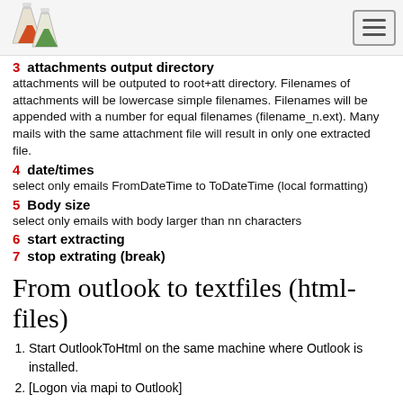[Logo image] [Hamburger menu icon]
3  attachments output directory
attachments will be outputed to root+att directory. Filenames of attachments will be lowercase simple filenames. Filenames will be appended with a number for equal filenames (filename_n.ext). Many mails with the same attachment file will result in only one extracted file.
4  date/times
select only emails FromDateTime to ToDateTime (local formatting)
5  Body size
select only emails with body larger than nn characters
6  start extracting
7  stop extrating (break)
From outlook to textfiles (html-files)
Start OutlookToHtml on the same machine where Outlook is installed.
[Logon via mapi to Outlook]
Select folder and root directory
Restrict with datetimes and body size
Go